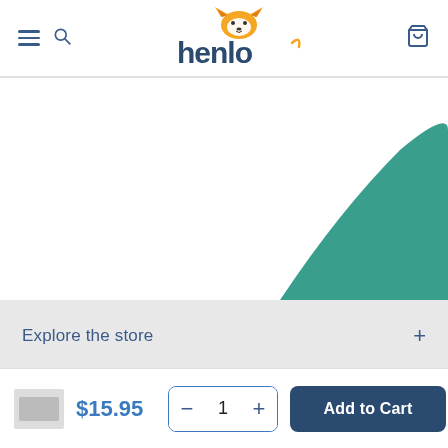[Figure (logo): Henlo pet store logo with corgi dog icon above stylized text 'henlo']
[Figure (illustration): Partial product image area showing a green hill/mountain shape on white background]
Explore the store
Henlo Info
$15.95
1
Add to Cart